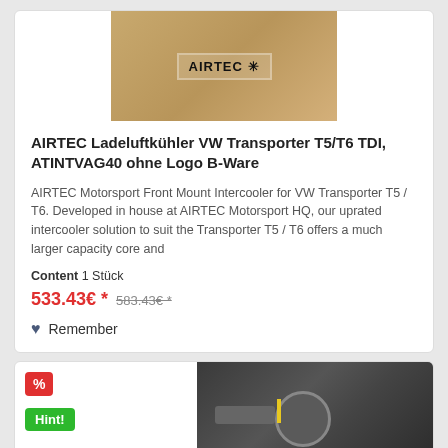[Figure (photo): AIRTEC branded cardboard box product package photo]
AIRTEC Ladeluftkühler VW Transporter T5/T6 TDI, ATINTVAG40 ohne Logo B-Ware
AIRTEC Motorsport Front Mount Intercooler for VW Transporter T5 / T6. Developed in house at AIRTEC Motorsport HQ, our uprated intercooler solution to suit the Transporter T5 / T6 offers a much larger capacity core and
Content 1 Stück
533.43€ * 583.43€ *
Remember
[Figure (photo): Car engine bay photo showing VW engine with yellow dipstick, gray engine components]